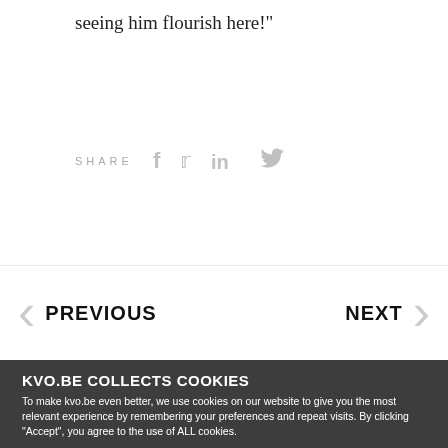seeing him flourish here!"
SHARE
PREVIOUS
NEXT
KVO.BE COLLECTS COOKIES
To make kvo.be even better, we use cookies on our website to give you the most relevant experience by remembering your preferences and repeat visits. By clicking "Accept", you agree to the use of ALL cookies.